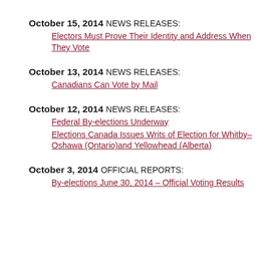October 15, 2014
NEWS RELEASES:
Electors Must Prove Their Identity and Address When They Vote
October 13, 2014
NEWS RELEASES:
Canadians Can Vote by Mail
October 12, 2014
NEWS RELEASES:
Federal By-elections Underway
Elections Canada Issues Writs of Election for Whitby–Oshawa (Ontario)and Yellowhead (Alberta)
October 3, 2014
OFFICIAL REPORTS:
By-elections June 30, 2014 – Official Voting Results